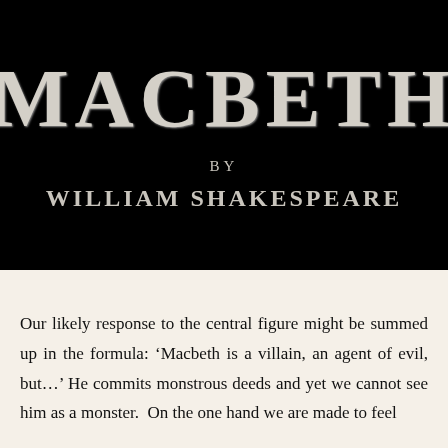[Figure (illustration): Black banner with large stylized text 'MACBETH' in gothic/old-style white capitals, below which appears 'BY' in smaller spaced capitals, and 'WILLIAM SHAKESPEARE' in medium spaced capitals, all on a black background.]
MACBETH
BY
WILLIAM SHAKESPEARE
Our likely response to the central figure might be summed up in the formula: 'Macbeth is a villain, an agent of evil, but....' He commits monstrous deeds and yet we cannot see him as a monster.  On the one hand we are made to feel